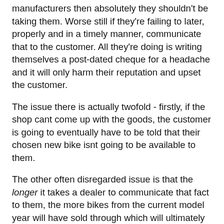manufacturers then absolutely they shouldn't be taking them. Worse still if they're failing to later, properly and in a timely manner, communicate that to the customer. All they're doing is writing themselves a post-dated cheque for a headache and it will only harm their reputation and upset the customer.
The issue there is actually twofold - firstly, if the shop cant come up with the goods, the customer is going to eventually have to be told that their chosen new bike isnt going to be available to them.
The other often disregarded issue is that the longer it takes a dealer to communicate that fact to them, the more bikes from the current model year will have sold through which will ultimately make it even harder for that customer to find a bike.
The bike industry would absolutely love to "sort itself out" but sadly, it isnt that simple, even for those trying to do everything the right way, by